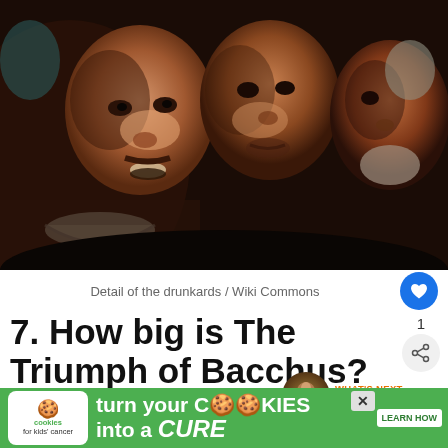[Figure (photo): Detail of a Baroque painting showing three men's faces close up — one smiling broadly holding a bowl, one in the center, one on the right with a grey beard. Dark earthy tones typical of Velázquez.]
Detail of the drunkards / Wiki Commons
7. How big is The Triumph of Bacchus?
Many of the masterpieces of Diego Velázquez are
[Figure (infographic): Advertisement banner: cookies for kids cancer — turn your COOKIES into a CURE LEARN HOW]